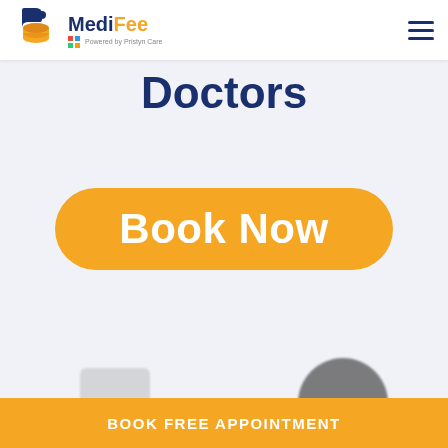[Figure (logo): MediFee logo with orange coin/database icon and 'Powered by Pristyn Care' tagline]
Doctors
[Figure (other): Large orange rounded 'Book Now' button]
[Figure (photo): Partial blurred image of a doctor at the bottom of the page]
BOOK FREE APPOINTMENT